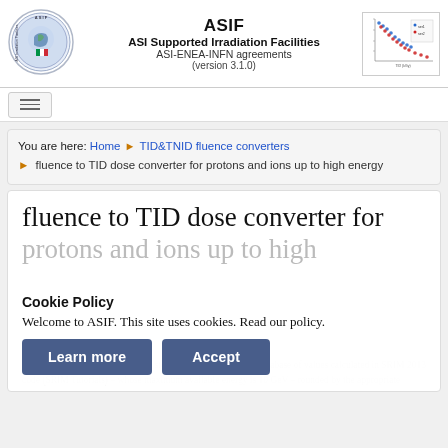ASIF
ASI Supported Irradiation Facilities
ASI-ENEA-INFN agreements
(version 3.1.0)
[Figure (continuous-plot): Small thumbnail chart showing a curve/scatter plot with colored data points, red and blue, on white background with axes]
You are here: Home ▶ TID&TNID fluence converters ▶ fluence to TID dose converter for protons and ions up to high energy
fluence to TID dose converter for protons and ions up to high energy
Cookie Policy
Welcome to ASIF. This site uses cookies. Read our policy.
The current calculator for electron stopping powers exploits a database of values calculated in SRIM 2013 code (SRIM Tutorials) – whose maximum available energy is 10 GeV – rounded by the appropriate...